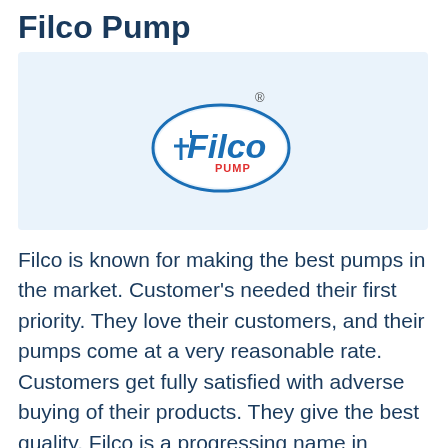Filco Pump
[Figure (logo): Filco Pump logo: oval blue bordered logo with 'Filco' text in blue and 'PUMP' in red beneath, with a registered trademark symbol above]
Filco is known for making the best pumps in the market. Customer's needed their first priority. They love their customers, and their pumps come at a very reasonable rate. Customers get fully satisfied with adverse buying of their products. They give the best quality. Filco is a progressing name in